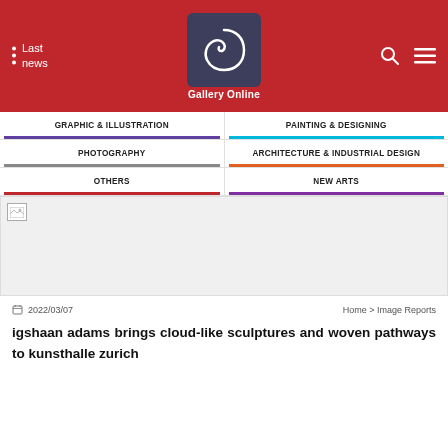Gallery Online — Last news
GRAPHIC & ILLUSTRATION
PAINTING & DESIGNING
PHOTOGRAPHY
ARCHITECTURE & INDUSTRIAL DESIGN
OTHERS
NEW ARTS
[Figure (photo): Broken image placeholder for article header photo]
2022/03/07
Home > Image Reports
igshaan adams brings cloud-like sculptures and woven pathways to kunsthalle zurich